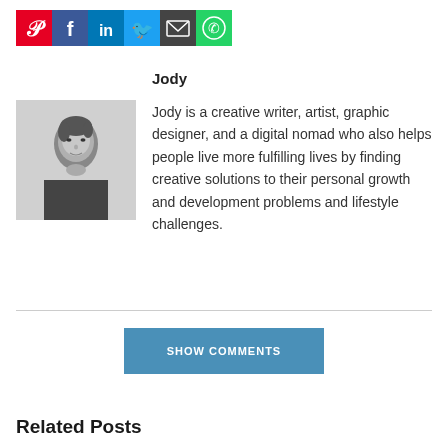[Figure (other): Row of six social sharing icon buttons: Pinterest (red), Facebook (blue), LinkedIn (blue), Twitter (teal), Email (dark gray), WhatsApp (green)]
Jody
[Figure (photo): Black and white portrait photo of a young woman with short hair, resting her chin on her hands, looking at the camera]
Jody is a creative writer, artist, graphic designer, and a digital nomad who also helps people live more fulfilling lives by finding creative solutions to their personal growth and development problems and lifestyle challenges.
SHOW COMMENTS
Related Posts